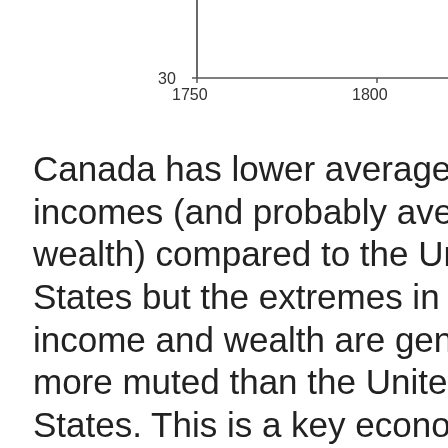[Figure (continuous-plot): Partial view of a line chart showing data from approximately 1750 to 1800, with y-axis value of 30 visible. The chart is cropped — only the bottom portion and x-axis labels are visible.]
Canada has lower average incomes (and probably average wealth) compared to the United States but the extremes in both income and wealth are generally more muted than the United States. This is a key economic difference between the two countries and in my opinion a factor why politics in the United States can also be more extreme than politics in Canada. I suppose this is something we already